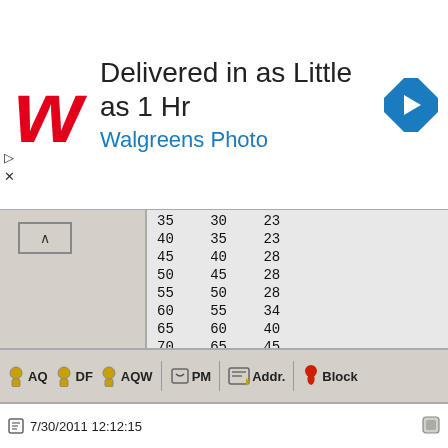[Figure (screenshot): Walgreens Photo advertisement banner: 'Delivered in as Little as 1 Hr' with Walgreens logo and navigation arrow icon]
| 35 | 30 | 23 |
| 40 | 35 | 23 |
| 45 | 40 | 28 |
| 50 | 45 | 28 |
| 55 | 50 | 28 |
| 60 | 55 | 34 |
| 65 | 60 | 40 |
| 70 | 65 | 45 |
| 75 | 70 | 45 |
| 80 | 75 | 45 |
| 85 | 80 | 51 |
| 90 | 85 | 57 |
| 95 | 90 | 62 |
| 100 | 95 | 62 |
| 105 | 100 | 62 |
| 110 | 105 | 68 |
| 115 | 110 | 74 |
| 120 | 115 | 79 |
| 125 | 120 | 79 |
| 130 | 125 | 85 |
| 135 | 130 | 91 |
| 140 | 135 | 96 |
| 145 | 140 | 96 |
| 150 | 145 | 108 |
AQ  DF  AQW  PM  Addr.  Block
7/30/2011 12:12:15